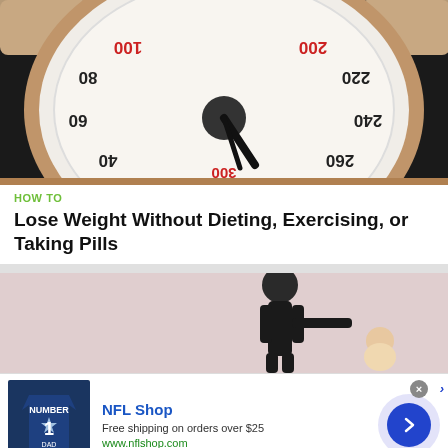[Figure (photo): Close-up of a bathroom weight scale dial showing numbers 0, 20, 40, 60, 80, 100, 200, 220, 240, 260, 280 with a pointer near 120, hands holding the scale from above]
HOW TO
Lose Weight Without Dieting, Exercising, or Taking Pills
[Figure (photo): A dark figure standing next to a small baby or toddler on a light pink/mauve background]
[Figure (other): Advertisement: NFL Shop - Free shipping on orders over $25 - www.nflshop.com - Dallas Cowboys jersey shirt image on left, arrow button on right]